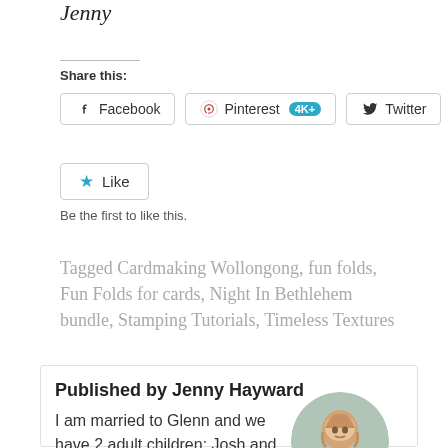Jenny
Share this:
Facebook   Pinterest 4K+   Twitter
Like
Be the first to like this.
Tagged Cardmaking Wollongong, fun folds, Fun Folds for cards, Night In Bethlehem bundle, Stamping Tutorials, Timeless Textures
Published by Jenny Hayward
I am married to Glenn and we have 2 adult children: Josh and Carlie. I live in the Northern